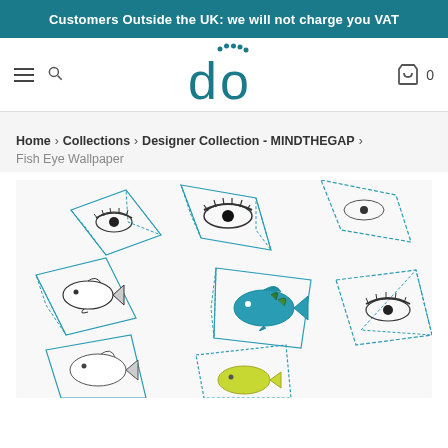Customers Outside the UK: we will not charge you VAT
[Figure (logo): do logo in teal with dots above the letter o]
Home > Collections > Designer Collection - MINDTHEGAP > Fish Eye Wallpaper
[Figure (photo): Fish Eye Wallpaper product image showing geometric diamond/crystal shapes with illustrations of fish and eyes inside them on a white background, in teal outline style]